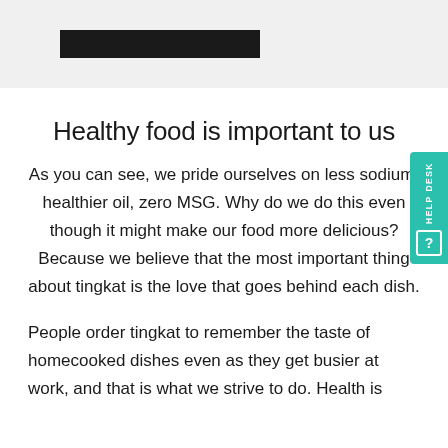[Figure (other): Top banner area with light gray background containing a black rectangular bar on the left side, likely a redacted or placeholder logo/image]
Healthy food is important to us
As you can see, we pride ourselves on less sodium, healthier oil, zero MSG. Why do we do this even though it might make our food more delicious? Because we believe that the most important thing about tingkat is the love that goes behind each dish.
People order tingkat to remember the taste of homecooked dishes even as they get busier at work, and that is what we strive to do. Health is